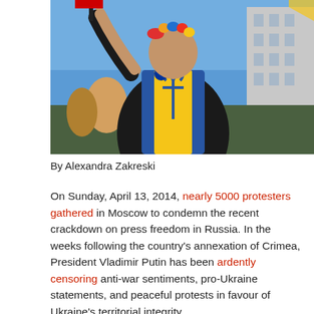[Figure (photo): A protester wearing a Ukrainian blue and yellow scarf with the Ukrainian trident emblem, also wearing a floral headpiece and EU badge, raising one arm, photographed from below against a blue sky with urban buildings in the background.]
By Alexandra Zakreski
On Sunday, April 13, 2014, nearly 5000 protesters gathered in Moscow to condemn the recent crackdown on press freedom in Russia. In the weeks following the country's annexation of Crimea, President Vladimir Putin has been ardently censoring anti-war sentiments, pro-Ukraine statements, and peaceful protests in favour of Ukraine's territorial integrity.